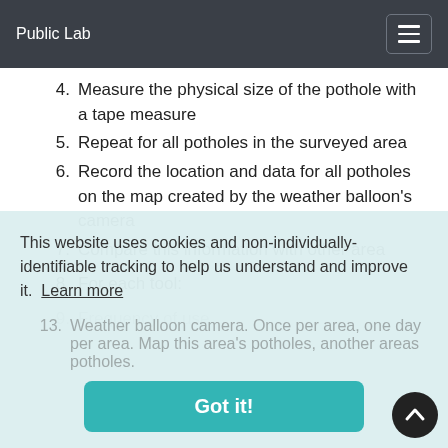Public Lab
4. Measure the physical size of the pothole with a tape measure
5. Repeat for all potholes in the surveyed area
6. Record the location and data for all potholes on the map created by the weather balloon's camera
7. Compare this information with other area
8. For each tool:
9. Frequency of use
This website uses cookies and non-individually-identifiable tracking to help us understand and improve it. Learn more
13. Weather balloon camera. Once per area, one day per area. Map this area's potholes, another areas potholes.